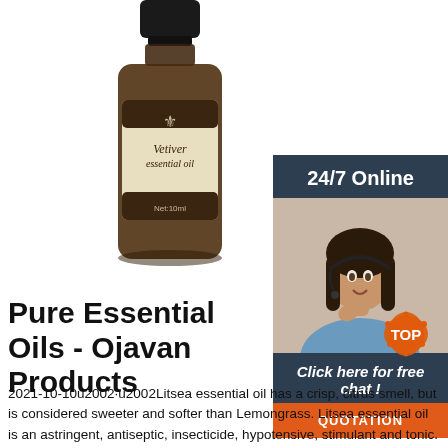[Figure (photo): A dark brown glass bottle of Vetiver essential oil with a cream/beige label featuring a fleur-de-lis symbol, text 'Vetiver essential oil' and 'Net:10ml' on the label. The bottle has a black cap.]
[Figure (photo): Sidebar advertisement showing a woman with a headset smiling, with '24/7 Online' header in dark blue, 'Click here for free chat!' text, and an orange 'QUOTATION' button.]
Pure Essential Oils - Ojavan Products
2021-10-10u2002·u2002Litsea essential oil has a crisp, citrus smell, but is considered sweeter and softer than Lemongrass. Litsea essential oil is an astringent, antiseptic, insecticide, hypotensive, stimulant and tonic. Litsea essential oil is used to treat many skin-related conditions such as dermatitis, spots,